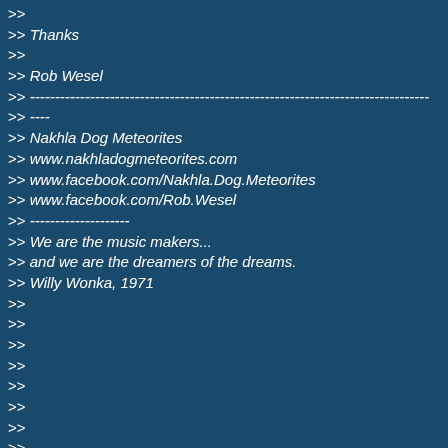>>
>> Thanks
>>
>> Rob Wesel
>> --------------------------------------------------------------------------------
>> ----
>> Nakhla Dog Meteorites
>> www.nakhladogmeteorites.com
>> www.facebook.com/Nakhla.Dog.Meteorites
>> www.facebook.com/Rob.Wesel
>> --------------------
>> We are the music makers...
>> and we are the dreamers of the dreams.
>> Willy Wonka, 1971
>>
>>
>>
>>
>>
>>
>>
>>